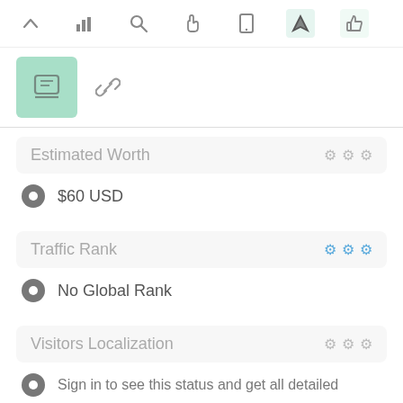[Figure (screenshot): Top toolbar with navigation icons: up arrow, bar chart, search, hand/pointer, mobile, navigation/send (active green), thumbs up (light green)]
[Figure (screenshot): Second toolbar row with green settings box icon and a link/chain icon]
Estimated Worth
$60 USD
Traffic Rank
No Global Rank
Visitors Localization
Sign in to see this status and get all detailed